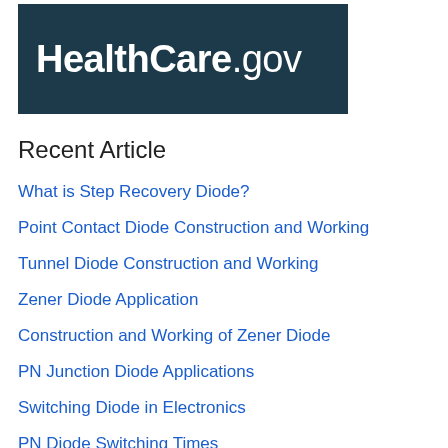[Figure (logo): HealthCare.gov logo — white bold text on dark teal/navy background]
Recent Article
What is Step Recovery Diode?
Point Contact Diode Construction and Working
Tunnel Diode Construction and Working
Zener Diode Application
Construction and Working of Zener Diode
PN Junction Diode Applications
Switching Diode in Electronics
PN Diode Switching Times